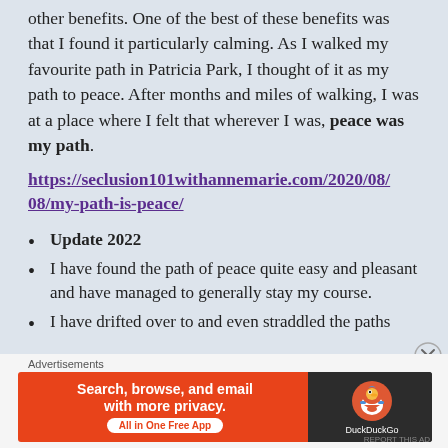other benefits. One of the best of these benefits was that I found it particularly calming. As I walked my favourite path in Patricia Park, I thought of it as my path to peace. After months and miles of walking, I was at a place where I felt that wherever I was, peace was my path.
https://seclusion101withannemarie.com/2020/08/08/my-path-is-peace/
Update 2022
I have found the path of peace quite easy and pleasant and have managed to generally stay my course.
I have drifted over to and even straddled the paths
Advertisements
[Figure (other): DuckDuckGo advertisement banner: Search, browse, and email with more privacy. All in One Free App.]